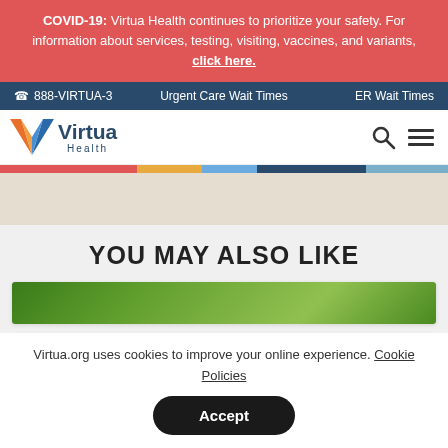COVID-19: Virtua Health continues to prioritize your safety. For information about services, testing, visiting, vaccines, and variants, click here.
888-VIRTUA-3  Urgent Care Wait Times  ER Wait Times
[Figure (logo): Virtua Health logo with orange/blue V chevron and text]
YOU MAY ALSO LIKE
[Figure (photo): Green foliage/nature background image]
Virtua.org uses cookies to improve your online experience. Cookie Policies
Accept